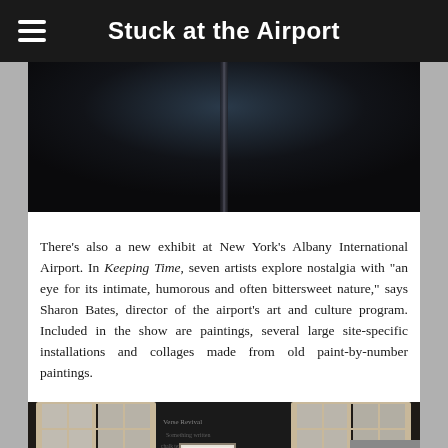Stuck at the Airport
[Figure (photo): Dark background photo, appears to show a dark object or sculpture against a very dark background with a slight blue-grey gradient at top]
There's also a new exhibit at New York's Albany International Airport. In Keeping Time, seven artists explore nostalgia with "an eye for its intimate, humorous and often bittersweet nature," says Sharon Bates, director of the airport's art and culture program. Included in the show are paintings, several large site-specific installations and collages made from old paint-by-number paintings.
[Figure (photo): Interior installation photo showing two large wooden-framed windows with grid panes on either side of a dark chalkboard wall with chalk writing and a framed artwork in the center]